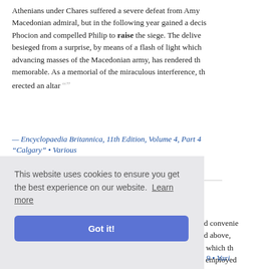Athenians under Chares suffered a severe defeat from Amyntas, the Macedonian admiral, but in the following year gained a decisive victory under Phocion and compelled Philip to raise the siege. The deliverance of the besieged from a surprise, by means of a flash of light which revealed the advancing masses of the Macedonian army, has rendered this event memorable. As a memorial of the miraculous interference, the Byzantines erected an altar ...
— Encyclopaedia Britannica, 11th Edition, Volume 4, Part 4 "Calgary" • Various
Read full book for free!
... chosen close to the mouth of a stream which flowed in. Here it was determined to moor the ships and to erect such ... nd convenie... nd above, ... k which the... e employed... nd for culti...
ne 9 • Vari...
This website uses cookies to ensure you get the best experience on our website. Learn more Got it!